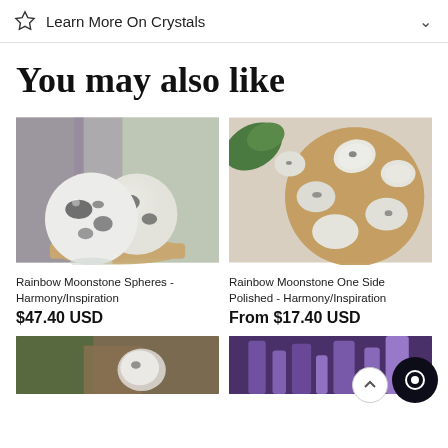Learn More On Crystals
You may also like
[Figure (photo): Rainbow Moonstone spheres with white and black speckled pattern on wooden stand with amethyst crystals in background]
Rainbow Moonstone Spheres - Harmony/Inspiration
$47.40 USD
[Figure (photo): Rainbow Moonstone tumbled stones one side polished, displayed on wooden plate with green leaves]
Rainbow Moonstone One Side Polished - Harmony/Inspiration
From $17.40 USD
[Figure (photo): Partial bottom-left product image showing crystal on natural background]
[Figure (photo): Partial bottom-right product image showing amethyst crystals]